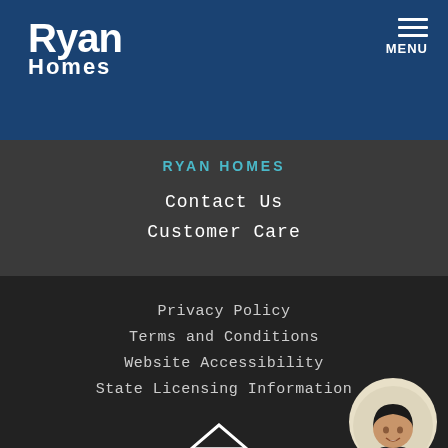[Figure (logo): Ryan Homes logo - white text on dark blue background]
RYAN HOMES
Contact Us
Customer Care
Privacy Policy
Terms and Conditions
Website Accessibility
State Licensing Information
[Figure (logo): Equal Housing Opportunity logo]
[Figure (photo): Female real estate agent chat bubble with Questions? button]
© 2022 Ryan Homes. All Rights Reserved.